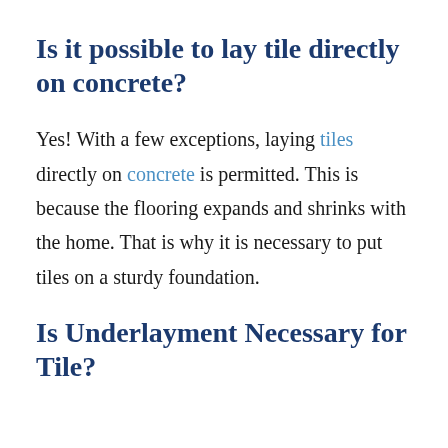Is it possible to lay tile directly on concrete?
Yes! With a few exceptions, laying tiles directly on concrete is permitted. This is because the flooring expands and shrinks with the home. That is why it is necessary to put tiles on a sturdy foundation.
Is Underlayment Necessary for Tile?